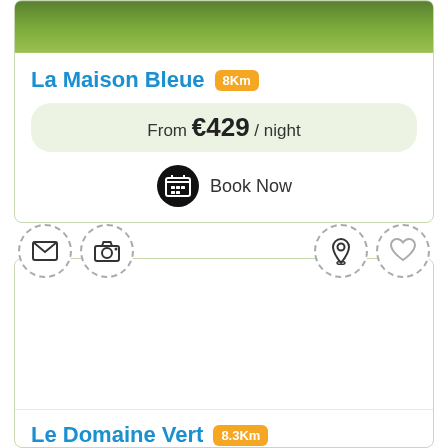[Figure (photo): Green grass/garden photo strip at top of listing card]
La Maison Bleue 8Km
From €429 / night
Book Now
[Figure (infographic): Action icon buttons: envelope, camera, location pin, heart — each in dashed circle]
[Figure (photo): White/empty photo area for Le Domaine Vert listing]
Le Domaine Vert 8.3Km